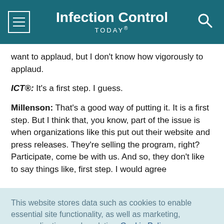Infection Control TODAY®
want to applaud, but I don't know how vigorously to applaud.
ICT®: It's a first step. I guess.
Millenson: That's a good way of putting it. It is a first step. But I think that, you know, part of the issue is when organizations like this put out their website and press releases. They're selling the program, right? Participate, come be with us. And so, they don't like to say things like, first step. I would agree
This website stores data such as cookies to enable essential site functionality, as well as marketing, personalization, and analytics. Cookie Policy
Accept
Deny